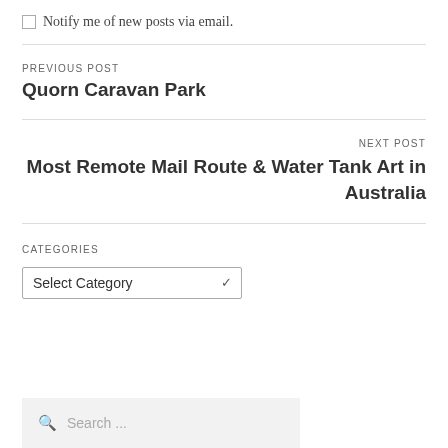Notify me of new posts via email.
PREVIOUS POST
Quorn Caravan Park
NEXT POST
Most Remote Mail Route & Water Tank Art in Australia
CATEGORIES
Select Category
Search ...